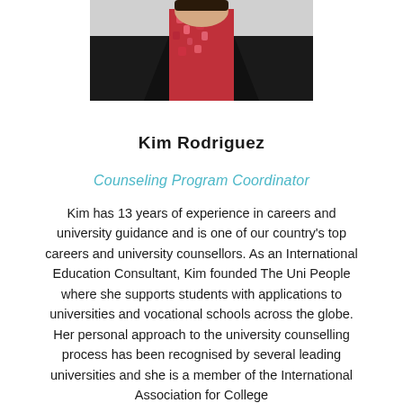[Figure (photo): Portrait photo of Kim Rodriguez wearing a black blazer over a floral top, photographed from the shoulders up against a light background. Only the lower portion of the photo is visible, showing the torso and the bottom of the face/chin area.]
Kim Rodriguez
Counseling Program Coordinator
Kim has 13 years of experience in careers and university guidance and is one of our country's top careers and university counsellors. As an International Education Consultant, Kim founded The Uni People where she supports students with applications to universities and vocational schools across the globe. Her personal approach to the university counselling process has been recognised by several leading universities and she is a member of the International Association for College